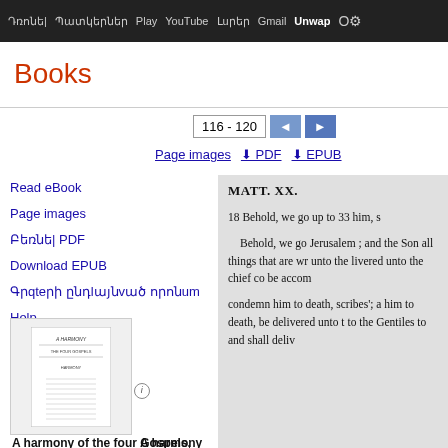Դռոնե| Պատկերներ Play YouTube Լուրեր Gmail Unwap O⚙
Books
116 - 120
Page images
PDF
EPUB
Read eBook
Page images
Բեռնե| PDF
Download EPUB
Գրքերի ընդլայնված որոնում
Help
Իմ գրադարանը
0 Գրախոսություններ
Գրախոսություն գրե|
A harmony of the four Gospels, following the Harmony of the Gospels
MATT. XX.
18 Behold, we go up to 33 him, s

Behold, we go Jerusalem ; and the Son all things that are wr unto the livered unto the chief co be accom

condemn him to death, scribes'; a him to death, be delivered unto t to the Gentiles to and shall deliv